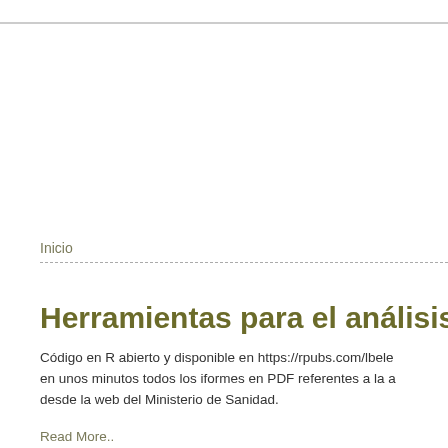Inicio
Herramientas para el análisis de b
Código en R abierto y disponible en https://rpubs.com/lbele en unos minutos todos los iformes en PDF referentes a la a desde la web del Ministerio de Sanidad.
Read More..